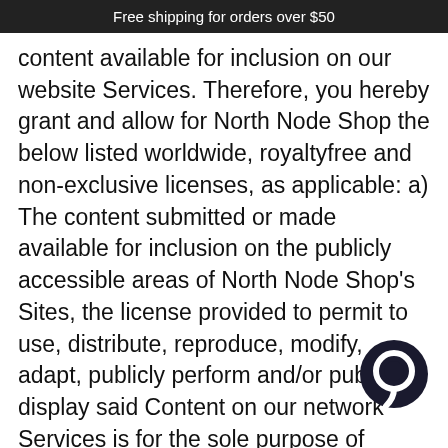Free shipping for orders over $50
content available for inclusion on our website Services. Therefore, you hereby grant and allow for North Node Shop the below listed worldwide, royaltyfree and non-exclusive licenses, as applicable: a) The content submitted or made available for inclusion on the publicly accessible areas of North Node Shop's Sites, the license provided to permit to use, distribute, reproduce, modify, adapt, publicly perform and/or publicly display said Content on our network Services is for the sole purpose of providing and promoting the specific area to which this content was p and/or made available for viewing. This license shall be available so long as you are a